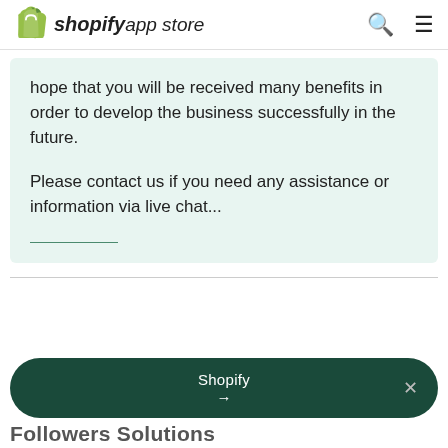shopify app store
hope that you will be received many benefits in order to develop the business successfully in the future.

Please contact us if you need any assistance or information via live chat...
[Figure (other): Shopify CTA banner with dark green rounded rectangle, text 'Shopify' with arrow, and close X button]
Followers Solutions